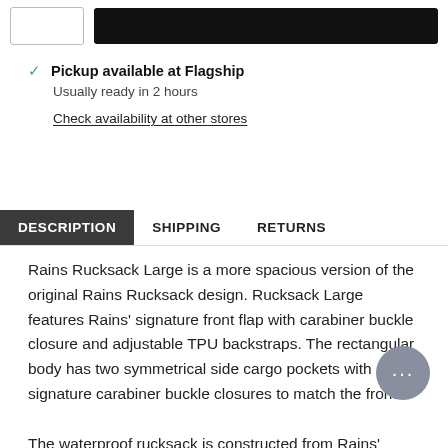[Figure (other): Quantity input box and black Add to Cart button at top of page]
Pickup available at Flagship
Usually ready in 2 hours
Check availability at other stores
DESCRIPTION   SHIPPING   RETURNS
Rains Rucksack Large is a more spacious version of the original Rains Rucksack design. Rucksack Large features Rains' signature front flap with carabiner buckle closure and adjustable TPU backstraps. The rectangular body has two symmetrical side cargo pockets with signature carabiner buckle closures to match the front.
The waterproof rucksack is constructed from Rains' waterproof PU and can be secured at the top with a snap closure under the flap to